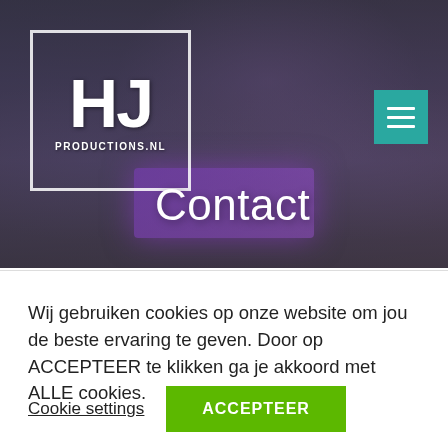[Figure (photo): DJ setup in a venue hall with moving head lights on trusses, a DJ booth with purple LED panel glow, brick walls and large windows in background. Dark moody atmospheric lighting.]
HJ PRODUCTIONS.NL
Contact
Wij gebruiken cookies op onze website om jou de beste ervaring te geven. Door op ACCEPTEER te klikken ga je akkoord met ALLE cookies.
Cookie settings
ACCEPTEER